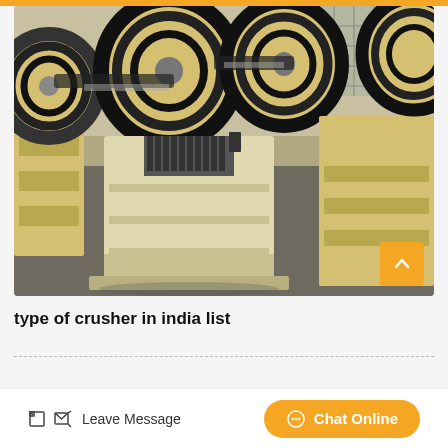[Figure (photo): Multiple jaw crusher machines with large black belt-drive pulleys and cream/yellow-painted frames lined up in a factory warehouse setting.]
type of crusher in india list
Leave Message
Chat Online